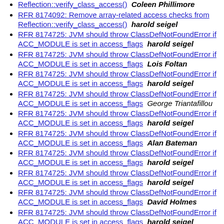Reflection::verify_class_access()  Coleen Phillimore
RFR 8174092: Remove array-related access checks from Reflection::verify_class_access()  harold seigel
RFR 8174725: JVM should throw ClassDefNotFoundError if ACC_MODULE is set in access_flags  harold seigel
RFR 8174725: JVM should throw ClassDefNotFoundError if ACC_MODULE is set in access_flags  Lois Foltan
RFR 8174725: JVM should throw ClassDefNotFoundError if ACC_MODULE is set in access_flags  harold seigel
RFR 8174725: JVM should throw ClassDefNotFoundError if ACC_MODULE is set in access_flags  George Triantafillou
RFR 8174725: JVM should throw ClassDefNotFoundError if ACC_MODULE is set in access_flags  harold seigel
RFR 8174725: JVM should throw ClassDefNotFoundError if ACC_MODULE is set in access_flags  Alan Bateman
RFR 8174725: JVM should throw ClassDefNotFoundError if ACC_MODULE is set in access_flags  harold seigel
RFR 8174725: JVM should throw ClassDefNotFoundError if ACC_MODULE is set in access_flags  harold seigel
RFR 8174725: JVM should throw ClassDefNotFoundError if ACC_MODULE is set in access_flags  David Holmes
RFR 8174725: JVM should throw ClassDefNotFoundError if ACC_MODULE is set in access_flags  harold seigel
RFR 8174725: JVM should throw ClassDefNotFoundError